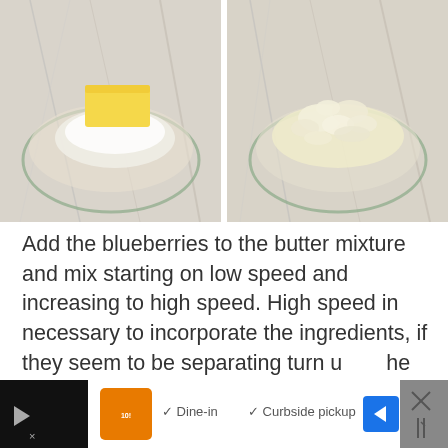[Figure (photo): Two side-by-side photos: left shows a stick of butter and sugar in a glass bowl on marble surface; right shows a crumbly butter-flour mixture in a glass bowl on marble surface.]
Add the blueberries to the butter mixture and mix starting on low speed and increasing to high speed. High speed in necessary to incorporate the ingredients, if they seem to be separating turn up the speed and continue to mix.
[Figure (screenshot): Social media UI overlay: teal heart icon with 7K count below, and a share icon button below that.]
[Figure (photo): Advertisement banner at bottom: dark background on sides, white center with orange restaurant logo, checkmarks, text 'Dine-in' and 'Curbside pickup', and a blue navigation arrow button.]